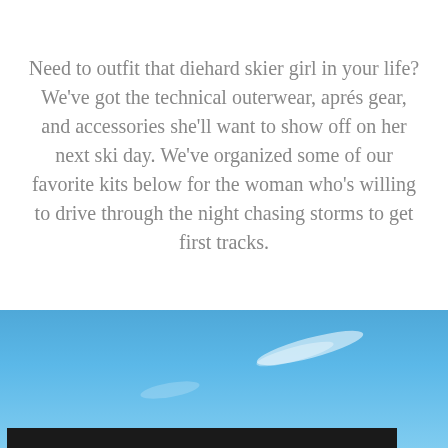Need to outfit that diehard skier girl in your life? We've got the technical outerwear, aprés gear, and accessories she'll want to show off on her next ski day. We've organized some of our favorite kits below for the woman who's willing to drive through the night chasing storms to get first tracks.
[Figure (photo): Blue sky background with wispy clouds and a dark horizontal bar at the bottom]